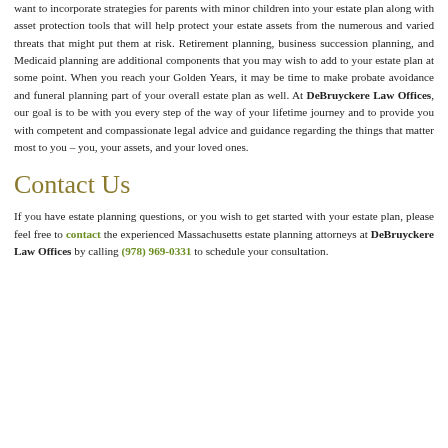want to incorporate strategies for parents with minor children into your estate plan along with asset protection tools that will help protect your estate assets from the numerous and varied threats that might put them at risk. Retirement planning, business succession planning, and Medicaid planning are additional components that you may wish to add to your estate plan at some point. When you reach your Golden Years, it may be time to make probate avoidance and funeral planning part of your overall estate plan as well. At DeBruyckere Law Offices, our goal is to be with you every step of the way of your lifetime journey and to provide you with competent and compassionate legal advice and guidance regarding the things that matter most to you – you, your assets, and your loved ones.
Contact Us
If you have estate planning questions, or you wish to get started with your estate plan, please feel free to contact the experienced Massachusetts estate planning attorneys at DeBruyckere Law Offices by calling (978) 969-0331 to schedule your consultation.